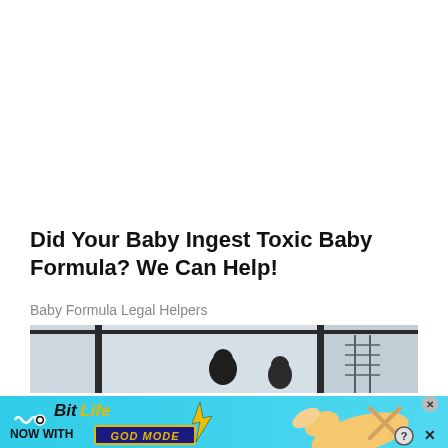Did Your Baby Ingest Toxic Baby Formula? We Can Help!
Baby Formula Legal Helpers
[Figure (photo): Partial view of a photo showing figures near a window with metal frames, appearing to be an office or indoor setting]
[Figure (advertisement): BitLife mobile game advertisement banner with cyan/blue background. Text reads: BitLife NOW WITH GOD MODE. Features yellow hand/finger pointing graphic and lightning bolt graphic.]